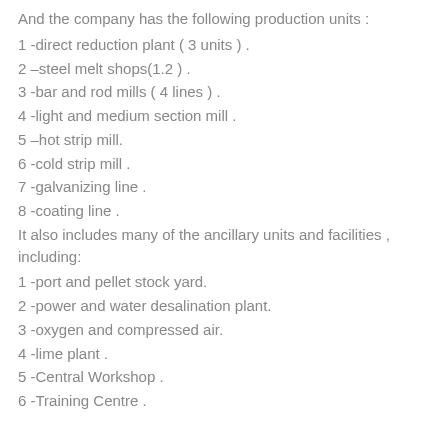And the company has the following production units :
1 -direct reduction plant ( 3 units ) .
2 –steel melt shops(1.2 ) .
3 -bar and rod mills ( 4 lines ) .
4 -light and medium section mill .
5 –hot strip mill.
6 -cold strip mill .
7 -galvanizing line .
8 -coating line .
It also includes many of the ancillary units and facilities , including:
1 -port and pellet stock yard.
2 -power and water desalination plant.
3 -oxygen and compressed air.
4 -lime plant .
5 -Central Workshop .
6 -Training Centre .